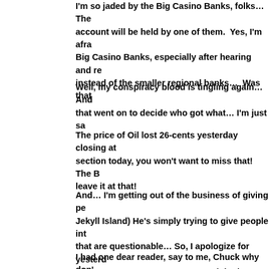I'm so jaded by the Big Casino Banks, folks… The account will be held by one of them.  Yes, I'm afraid Big Casino Banks, especially after hearing and re instead of the smaller regional banks…  Was that
Well, my conspiracy blood is tingling again… And that went on to decide who got what… I'm just sa
The price of Oil lost 26-cents yesterday closing at section today, you won't want to miss that! The B leave it at that!
And… I'm getting out of the business of giving pe Jekyll Island) He's simply trying to give people int that are questionable… So, I apologize for yester this COVID treatment cost so much in the future,
I had one dear reader, say to me, Chuck why don' Look… I do this for free… I don't have research te research, it's just little old me, here, hoping to spr not good enough then, fine, I truly don't have any I might add…